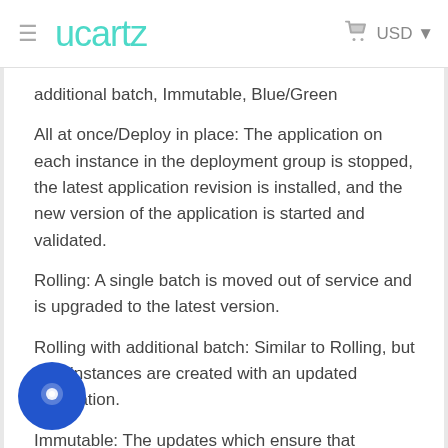≡  Ucartz   🛒 USD ▾
additional batch, Immutable, Blue/Green
All at once/Deploy in place: The application on each instance in the deployment group is stopped, the latest application revision is installed, and the new version of the application is started and validated.
Rolling: A single batch is moved out of service and is upgraded to the latest version.
Rolling with additional batch: Similar to Rolling, but new instances are created with an updated application.
Immutable: The updates which ensure that